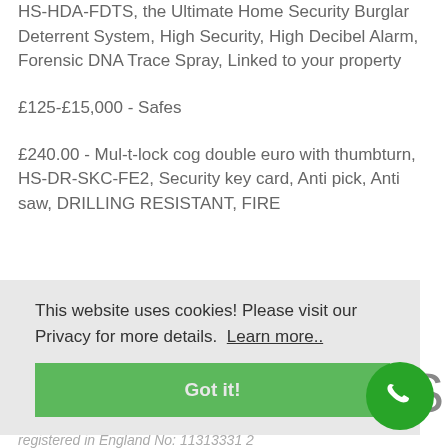HS-HDA-FDTS, the Ultimate Home Security Burglar Deterrent System, High Security, High Decibel Alarm, Forensic DNA Trace Spray, Linked to your property
£125-£15,000 - Safes
£240.00 - Mul-t-lock cog double euro with thumbturn, HS-DR-SKC-FE2, Security key card, Anti pick, Anti saw, DRILLING RESISTANT, FIRE
This website uses cookies! Please visit our Privacy for more details.  Learn more..
Got it!
registered in England No: 11313331 2